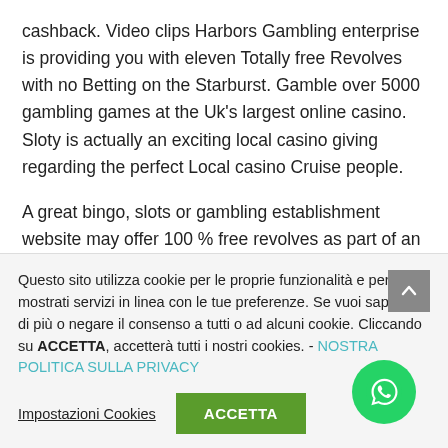cashback. Video clips Harbors Gambling enterprise is providing you with eleven Totally free Revolves with no Betting on the Starburst. Gamble over 5000 gambling games at the Uk's largest online casino. Sloty is actually an exciting local casino giving regarding the perfect Local casino Cruise people.
A great bingo, slots or gambling establishment website may offer 100 % free revolves as part of an advantage deal. They're considering for the a certain slot, a tight set of given harbors, otherwise some of
Questo sito utilizza cookie per le proprie funzionalità e per mostrati servizi in linea con le tue preferenze. Se vuoi saperne di più o negare il consenso a tutti o ad alcuni cookie. Cliccando su ACCETTA, accetterà tutti i nostri cookies. - NOSTRA POLITICA SULLA PRIVACY
Impostazioni Cookies
ACCETTA